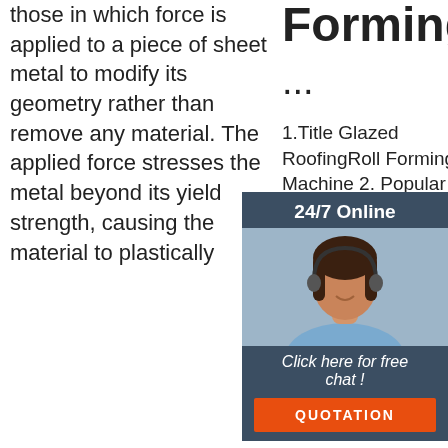those in which force is applied to a piece of sheet metal to modify its geometry rather than remove any material. The applied force stresses the metal beyond its yield strength, causing the material to plastically
Forming
...
1.Title Glazed RoofingRoll Forming Machine 2. Popular Profile 3. Working Flow 4. Main Machine configurations Manual decoiler 1set,roll forming machine ...
MaxMach (Registered under the name of Hangzhou Roll Forming Machine Co., Ltd) company, engaged in manufacturing, supplying and exporting a wide range of Roll Forming Machine, Steel Structure
[Figure (infographic): 24/7 Online chat widget with a customer service representative photo, 'Click here for free chat!' text, and an orange QUOTATION button]